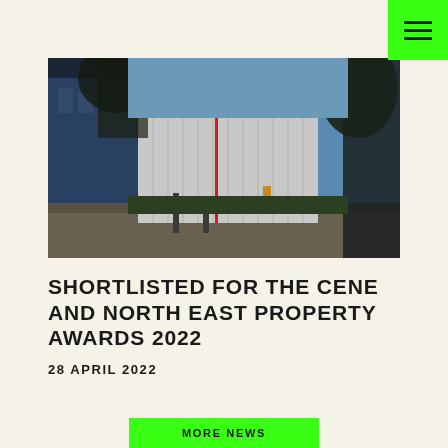[Figure (photo): Exterior photograph of an industrial or commercial building with white corrugated facade panels, a blue building to the left, tree branches visible in the foreground and right side, and a person walking in the background under a blue sky.]
SHORTLISTED FOR THE CENE AND NORTH EAST PROPERTY AWARDS 2022
28 APRIL 2022
MORE NEWS